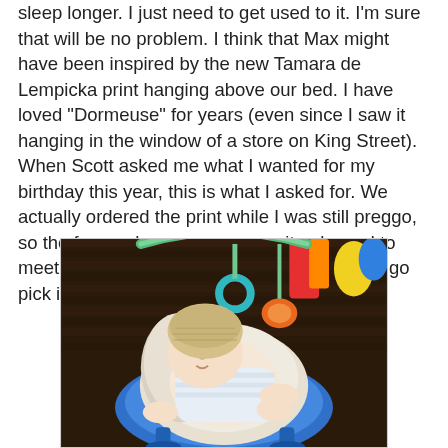sleep longer. I just need to get used to it. I'm sure that will be no problem. I think that Max might have been inspired by the new Tamara de Lempicka print hanging above our bed. I have loved "Dormeuse" for years (even since I saw it hanging in the window of a store on King Street). When Scott asked me what I wanted for my birthday this year, this is what I asked for. We actually ordered the print while I was still preggo, so the frame shop owner was quite pleased to meet Max when we finally got off our butts to go pick it up on Friday.
[Figure (photo): A baby lying in a blue and white infant bouncer seat on a wooden deck, wearing a light-colored knit hat and white outfit, with colorful toy bar overhead including teal ring and orange toys; colorful toys visible in background.]